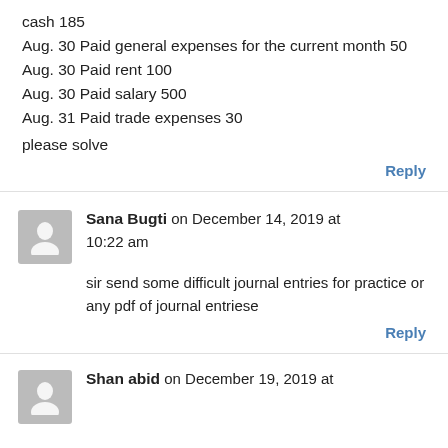cash 185
Aug. 30 Paid general expenses for the current month 50
Aug. 30 Paid rent 100
Aug. 30 Paid salary 500
Aug. 31 Paid trade expenses 30
please solve
Reply
Sana Bugti on December 14, 2019 at 10:22 am
sir send some difficult journal entries for practice or any pdf of journal entriese
Reply
Shan abid on December 19, 2019 at